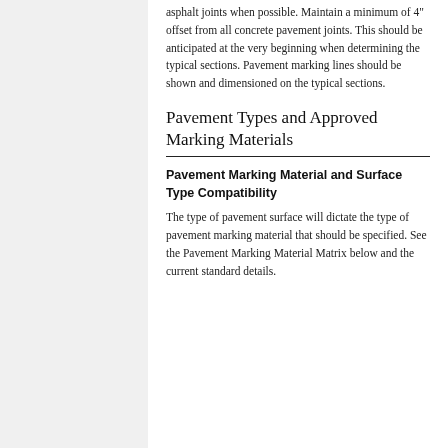asphalt joints when possible. Maintain a minimum of 4" offset from all concrete pavement joints. This should be anticipated at the very beginning when determining the typical sections. Pavement marking lines should be shown and dimensioned on the typical sections.
Pavement Types and Approved Marking Materials
Pavement Marking Material and Surface Type Compatibility
The type of pavement surface will dictate the type of pavement marking material that should be specified. See the Pavement Marking Material Matrix below and the current standard details.